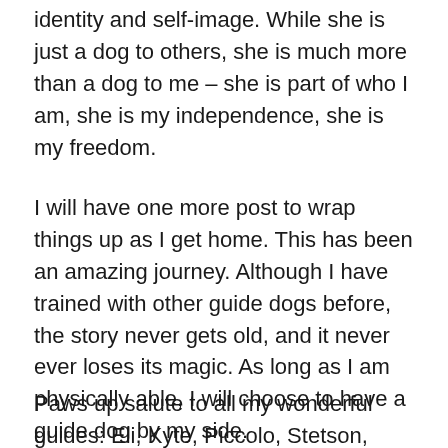identity and self-image. While she is just a dog to others, she is much more than a dog to me – she is part of who I am, she is my independence, she is my freedom.
I will have one more post to wrap things up as I get home. This has been an amazing journey. Although I have trained with other guide dogs before, the story never gets old, and it never ever loses its magic. As long as I am physically able, I will choose to have a guide dog by my side.
Paws up salute to all my wonderful guides: Eli, Kyte, Piccolo, Stetson, Jack Pot, Bode, and “L”.